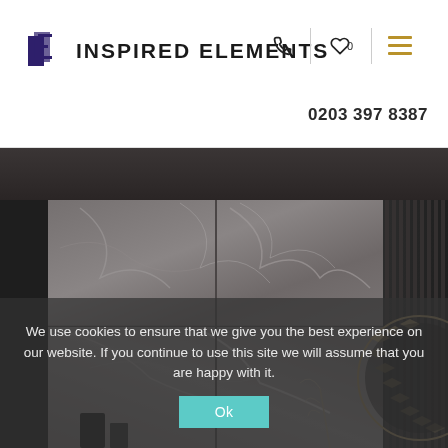IE INSPIRED ELEMENTS | 0203 397 8387
[Figure (screenshot): Luxury interior room scene with large marble-look tiles in grey tones on the wall, dark fluted wall panels on the right side, decorative geometric mirror partially visible on the right, and accessories/vases in foreground. Used as hero/banner image on the Inspired Elements website.]
We use cookies to ensure that we give you the best experience on our website. If you continue to use this site we will assume that you are happy with it.